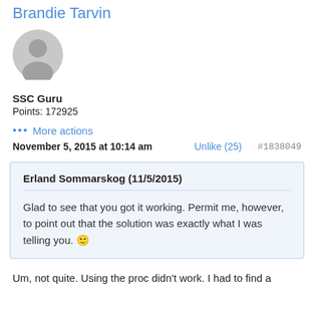Brandie Tarvin
[Figure (illustration): Generic user avatar: grey circle with person silhouette]
SSC Guru
Points: 172925
••• More actions
November 5, 2015 at 10:14 am    Unlike (25)    #1838049
Erland Sommarskog (11/5/2015)

Glad to see that you got it working. Permit me, however, to point out that the solution was exactly what I was telling you. 🙂
Um, not quite. Using the proc didn't work. I had to find a